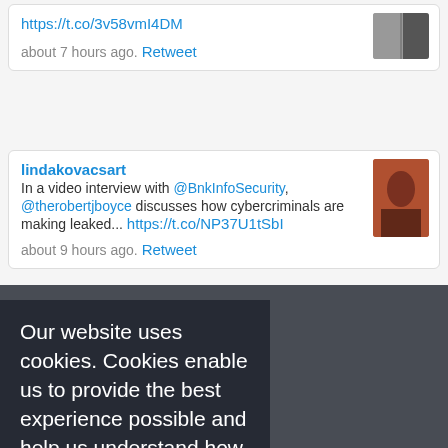https://t.co/3v58vmI4DM
about 7 hours ago. Retweet
lindakovacsart
In a video interview with @BnkInfoSecurity, @therobertjboyce discusses how cybercriminals are making leaked... https://t.co/NP37U1tSbI
about 9 hours ago. Retweet
Follow us on Twitter
Our website uses cookies. Cookies enable us to provide the best experience possible and help us understand how visitors use our website. By browsing inforisktoday.in, you agree to our use of cookies.
your reputation and data safe from socially engineered attacks like phishing.